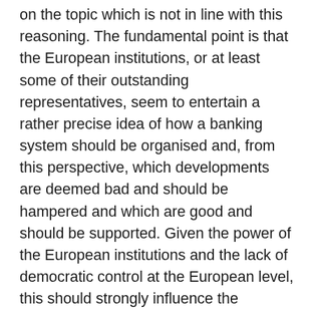on the topic which is not in line with this reasoning. The fundamental point is that the European institutions, or at least some of their outstanding representatives, seem to entertain a rather precise idea of how a banking system should be organised and, from this perspective, which developments are deemed bad and should be hampered and which are good and should be supported. Given the power of the European institutions and the lack of democratic control at the European level, this should strongly influence the development of banking systems in Europe, whether with or against the will of the European people. The result could be a rather homogeneous European banking system in which similar, preferably pan-European and thus rather large institutions dominate, in the same way as the